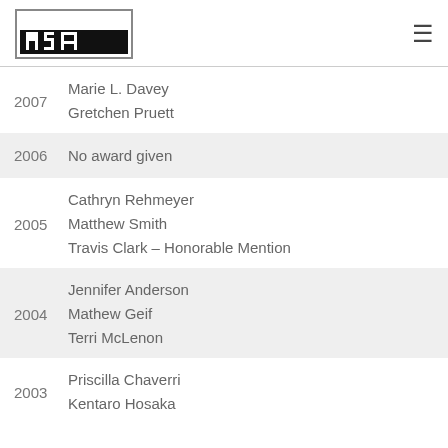[Figure (logo): MSA logo — rectangular logo with stylized MSA letters in black and white]
2007
Marie L. Davey
Gretchen Pruett
2006
No award given
2005
Cathryn Rehmeyer
Matthew Smith
Travis Clark – Honorable Mention
2004
Jennifer Anderson
Mathew Geif
Terri McLenon
2003
Priscilla Chaverri
Kentaro Hosaka